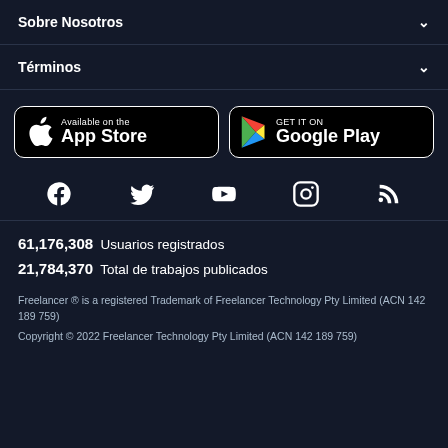Sobre Nosotros
Términos
[Figure (other): App Store and Google Play download buttons]
[Figure (other): Social media icons: Facebook, Twitter, YouTube, Instagram, RSS]
61,176,308  Usuarios registrados
21,784,370  Total de trabajos publicados
Freelancer ® is a registered Trademark of Freelancer Technology Pty Limited (ACN 142 189 759)
Copyright © 2022 Freelancer Technology Pty Limited (ACN 142 189 759)